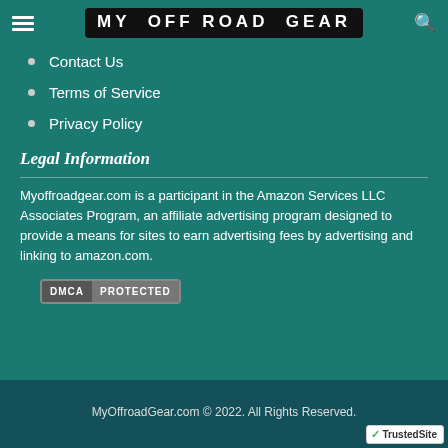MY OFF ROAD GEAR
Contact Us
Terms of Service
Privacy Policy
Legal Information
Myoffroadgear.com is a participant in the Amazon Services LLC Associates Program, an affiliate advertising program designed to provide a means for sites to earn advertising fees by advertising and linking to amazon.com.
[Figure (logo): DMCA PROTECTED badge]
MyOffroadGear.com © 2022. All Rights Reserved.